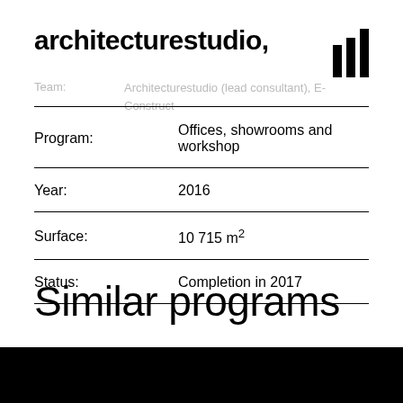architecturestudio,
Team: Architecturestudio (lead consultant), E-Construct
| Field | Value |
| --- | --- |
| Program: | Offices, showrooms and workshop |
| Year: | 2016 |
| Surface: | 10 715 m² |
| Status: | Completion in 2017 |
Similar programs